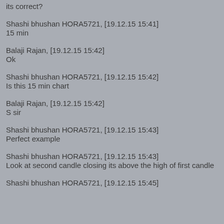its correct?
Shashi bhushan HORA5721, [19.12.15 15:41]
15 min
Balaji Rajan, [19.12.15 15:42]
Ok
Shashi bhushan HORA5721, [19.12.15 15:42]
Is this 15 min chart
Balaji Rajan, [19.12.15 15:42]
S sir
Shashi bhushan HORA5721, [19.12.15 15:43]
Perfect example
Shashi bhushan HORA5721, [19.12.15 15:43]
Look at second candle closing its above the high of first candle
Shashi bhushan HORA5721, [19.12.15 15:45]